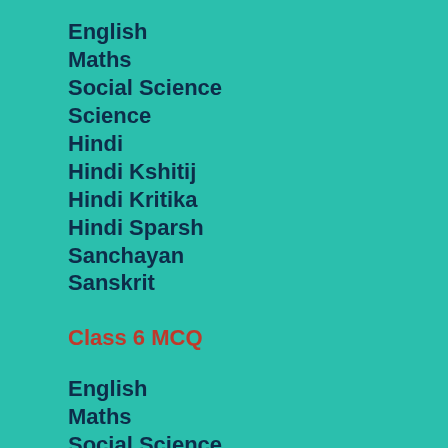English
Maths
Social Science
Science
Hindi
Hindi Kshitij
Hindi Kritika
Hindi Sparsh
Sanchayan
Sanskrit
Class 6 MCQ
English
Maths
Social Science